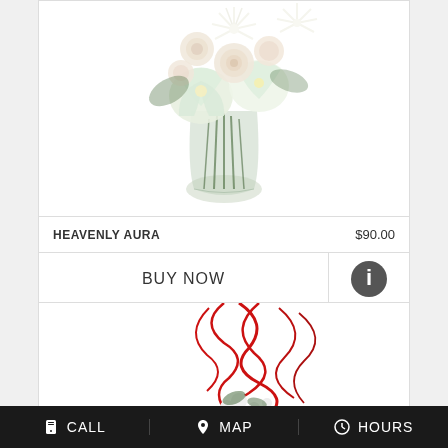[Figure (photo): White flower bouquet in a glass vase with roses, lilies, and spiky white blooms]
HEAVENLY AURA   $90.00
BUY NOW
[Figure (photo): Flower arrangement with red curling branches and white flowers]
CALL   MAP   HOURS